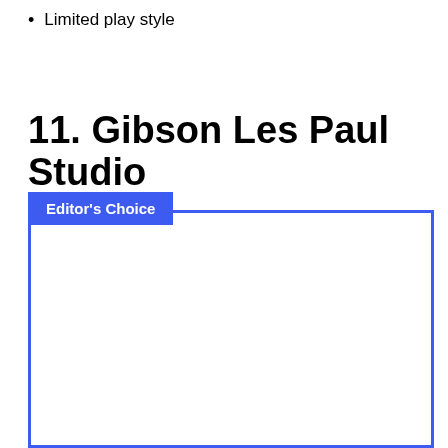Limited play style
11. Gibson Les Paul Studio
[Figure (other): Editor's Choice badge and image box with blue border for Gibson Les Paul Studio]